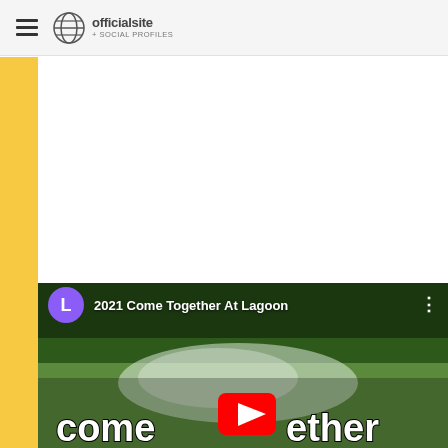officialsite + SOCIAL PROFILES
[Figure (screenshot): Yellow vertical sidebar bar on the left side of the content area]
[Figure (screenshot): YouTube video thumbnail for '2021 Come Together At Lagoon' showing people on a water slide with 'come together' text overlay and YouTube play button, with purple avatar circle showing 'L' and three-dot menu icon]